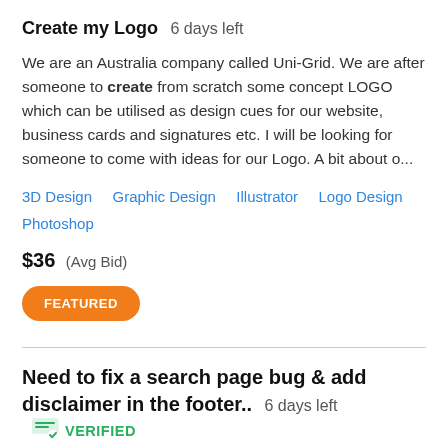Create my Logo  6 days left
We are an Australia company called Uni-Grid. We are after someone to create from scratch some concept LOGO which can be utilised as design cues for our website, business cards and signatures etc. I will be looking for someone to come with ideas for our Logo. A bit about o...
3D Design   Graphic Design   Illustrator   Logo Design   Photoshop
$36  (Avg Bid)
FEATURED
Need to fix a search page bug & add disclaimer in the footer..  6 days left  VERIFIED
HI You need to fix a bug in search page, basically entire data is not getting searched..from the database.. so need to fix.. application is in core php and its my sql database